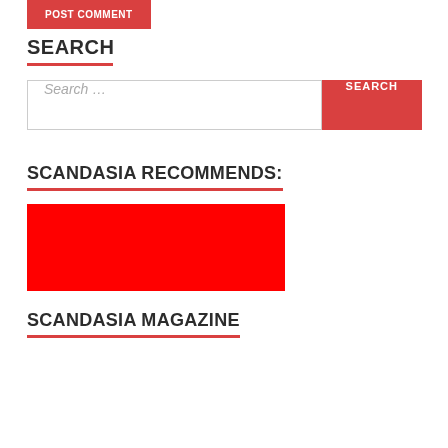POST COMMENT
SEARCH
Search …
SCANDASIA RECOMMENDS:
[Figure (other): Red rectangle placeholder image block]
SCANDASIA MAGAZINE